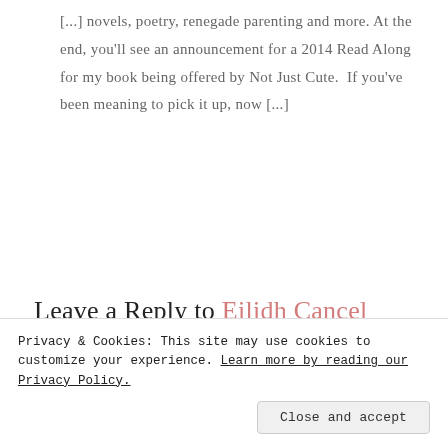[...] novels, poetry, renegade parenting and more. At the end, you'll see an announcement for a 2014 Read Along for my book being offered by Not Just Cute.  If you've been meaning to pick it up, now [...]
Leave a Reply to Eilidh Cancel reply
Privacy & Cookies: This site may use cookies to customize your experience. Learn more by reading our Privacy Policy.
Close and accept